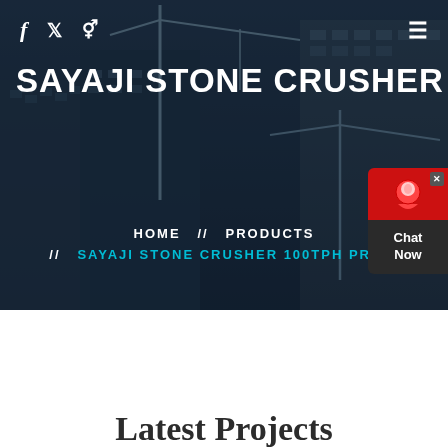[Figure (photo): Hero background: construction site with cranes and high-rise buildings under a dark blue overlay]
f  🐦  ✦  ☰
SAYAJI STONE CRUSHER 100TPH
HOME  //  PRODUCTS  //  SAYAJI STONE CRUSHER 100TPH PRICE
[Figure (illustration): Red and dark chat widget with support icon, showing 'Chat Now']
Latest Projects
[Figure (photo): Partial bottom image showing an industrial interior, cropped at page edge]